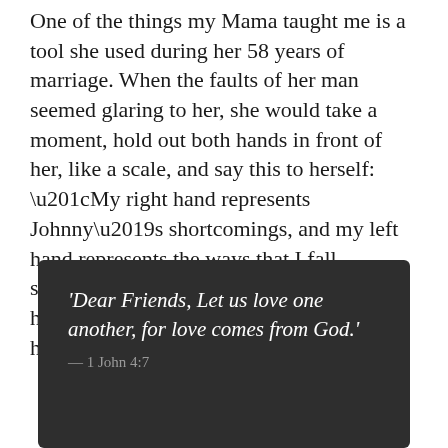One of the things my Mama taught me is a tool she used during her 58 years of marriage. When the faults of her man seemed glaring to her, she would take a moment, hold out both hands in front of her, like a scale, and say this to herself: “My right hand represents Johnny’s shortcomings, and my left hand represents the ways that I fall short.” Invariably, she would tell me, her left hand always weighed heavier than her right.
'Dear Friends, Let us love one another, for love comes from God.' — 1 John 4:7